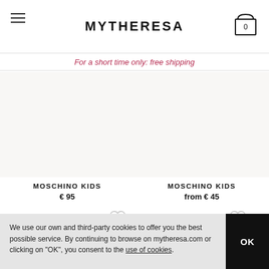MYTHERESA
For a short time only: free shipping
MOSCHINO KIDS
€ 95
MOSCHINO KIDS
from € 45
We use our own and third-party cookies to offer you the best possible service. By continuing to browse on mytheresa.com or clicking on "OK", you consent to the use of cookies.